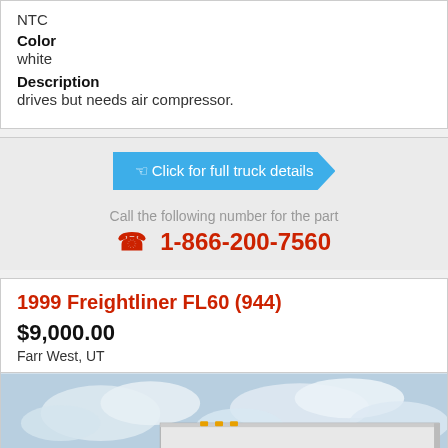NTC
Color
white
Description
drives but needs air compressor.
Click for full truck details
Call the following number for the part
1-866-200-7560
1999 Freightliner FL60 (944)
$9,000.00
Farr West, UT
[Figure (photo): White Freightliner FL60 box truck parked outdoors with cloudy sky background]